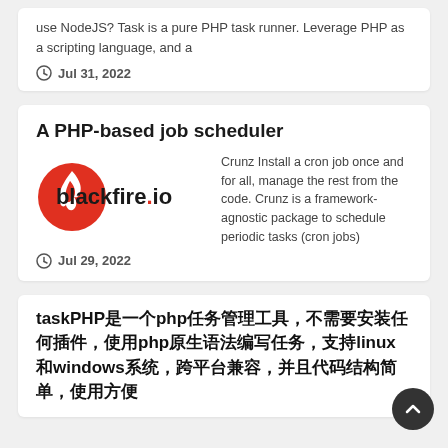use NodeJS? Task is a pure PHP task runner. Leverage PHP as a scripting language, and a
Jul 31, 2022
A PHP-based job scheduler
[Figure (logo): blackfire.io logo — red circle with flame icon on left, 'blackfire.io' text in bold dark font on right]
Crunz Install a cron job once and for all, manage the rest from the code. Crunz is a framework-agnostic package to schedule periodic tasks (cron jobs)
Jul 29, 2022
taskPHP是一个php任务管理工具，不需要安装任何插件，使用php原生语法编写任务，支持linux和windows系统，跨平台兼容，并且代码结构简单，使用方便